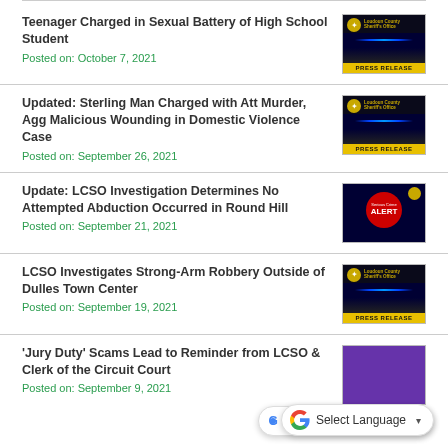Teenager Charged in Sexual Battery of High School Student
Posted on: October 7, 2021
Updated: Sterling Man Charged with Att Murder, Agg Malicious Wounding in Domestic Violence Case
Posted on: September 26, 2021
Update: LCSO Investigation Determines No Attempted Abduction Occurred in Round Hill
Posted on: September 21, 2021
LCSO Investigates Strong-Arm Robbery Outside of Dulles Town Center
Posted on: September 19, 2021
‘Jury Duty’ Scams Lead to Reminder from LCSO & Clerk of the Circuit Court
Posted on: September 9, 2021